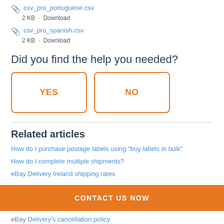csv_pro_portuguese.csv
2 KB · Download
csv_pro_spanish.csv
2 KB · Download
Did you find the help you needed?
YES
NO
Related articles
How do I purchase postage labels using "buy labels in bulk"
How do I complete multiple shipments?
eBay Delivery Ireland shipping rates
CONTACT US NOW
eBay Delivery's cancellation policy